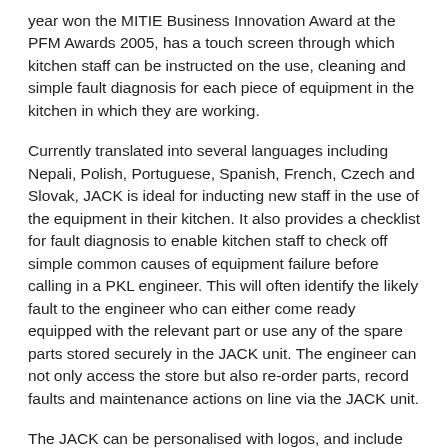year won the MITIE Business Innovation Award at the PFM Awards 2005, has a touch screen through which kitchen staff can be instructed on the use, cleaning and simple fault diagnosis for each piece of equipment in the kitchen in which they are working.
Currently translated into several languages including Nepali, Polish, Portuguese, Spanish, French, Czech and Slovak, JACK is ideal for inducting new staff in the use of the equipment in their kitchen. It also provides a checklist for fault diagnosis to enable kitchen staff to check off simple common causes of equipment failure before calling in a PKL engineer. This will often identify the likely fault to the engineer who can either come ready equipped with the relevant part or use any of the spare parts stored securely in the JACK unit. The engineer can not only access the store but also re-order parts, record faults and maintenance actions on line via the JACK unit.
The JACK can be personalised with logos, and include customer training on new menus or the presentation of a new dish. One client uses JACK for its weekly update on business performance to staff in each of its chain of restaurants.